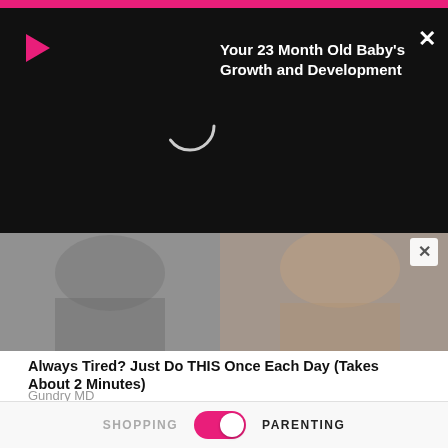[Figure (screenshot): Pink top navigation bar (mobile app)]
[Figure (screenshot): Black video overlay panel with play button, loading spinner, title text 'Your 23 Month Old Baby's Growth and Development', and close X button]
Your 23 Month Old Baby's Growth and Development
[Figure (photo): Grayscale advertisement image strip with close X button]
Always Tired? Just Do THIS Once Each Day (Takes About 2 Minutes)
Gundry MD
[Figure (photo): Four smiling women in athletic wear (sports bras) posing together against a concrete wall background]
SHOPPING   [toggle ON]   PARENTING